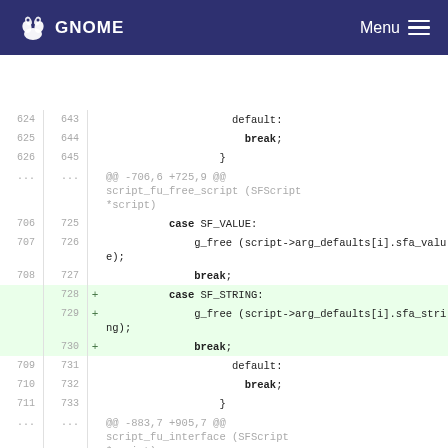GNOME   Menu
[Figure (screenshot): Code diff view showing changes to script_fu source, with line numbers, additions highlighted in green, and context lines in white.]